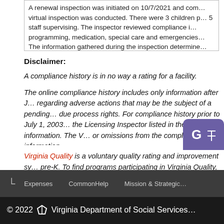A renewal inspection was initiated on 10/7/2021 and com... virtual inspection was conducted. There were 3 children p... 5 staff supervising. The inspector reviewed compliance i... programming, medication, special care and emergencies... The information gathered during the inspection determine...
Disclaimer:
A compliance history is in no way a rating for a facility.
The online compliance history includes only information after J... regarding adverse actions that may be the subject of a pending... due process rights. For compliance history prior to July 1, 2003... the Licensing Inspector listed in the facility's information. The V... or omissions from the compliance history information.
Virginia Quality is a voluntary quality rating and improvement sy... pre-K. To find programs participating in Virginia Quality, click he...
Expenses   CommonHelp   Mission & Strategic
© 2022 Virginia Department of Social Services